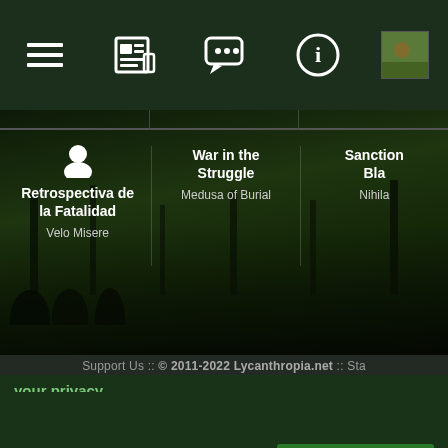[Figure (screenshot): Navigation bar with icons: list/menu icon, newspaper icon, chat/comment icon, info circle icon, and a small thumbnail image]
[Figure (screenshot): Album carousel showing three albums: 'Retrospectiva de la Fatalidad' by Velo Misere, 'War in the Struggle' by Medusa of Burial, and 'Sanction Bla...' by Nihila... on a dark forest background]
Support Us :: © 2011-2022 Lycanthropia.net :: Sta...
your privacy
ookies to save your site preferences and te traffic.
View Cookie Policy        Accept cookies